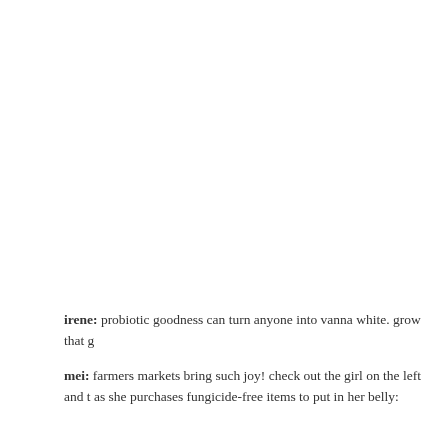irene: probiotic goodness can turn anyone into vanna white. grow that g
mei: farmers markets bring such joy! check out the girl on the left and t as she purchases fungicide-free items to put in her belly: